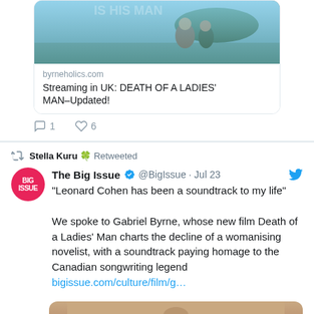[Figure (screenshot): Link card showing a movie promotional image with two people against a scenic background, with domain byrneholics.com and title 'Streaming in UK: DEATH OF A LADIES' MAN–Updated!']
byrneholics.com
Streaming in UK: DEATH OF A LADIES' MAN–Updated!
1   6
Stella Kuru 🍀 Retweeted
The Big Issue ✔ @BigIssue · Jul 23
"Leonard Cohen has been a soundtrack to my life"

We spoke to Gabriel Byrne, whose new film Death of a Ladies' Man charts the decline of a womanising novelist, with a soundtrack paying homage to the Canadian songwriting legend
bigissue.com/culture/film/g…
[Figure (photo): Partial view of a person's face/head at bottom of page]